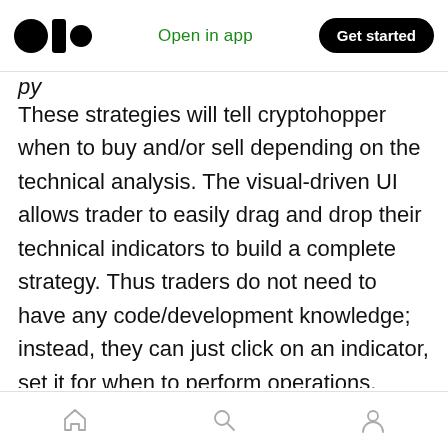Open in app | Get started
py
These strategies will tell cryptohopper when to buy and/or sell depending on the technical analysis. The visual-driven UI allows trader to easily drag and drop their technical indicators to build a complete strategy. Thus traders do not need to have any code/development knowledge; instead, they can just click on an indicator, set it for when to perform operations, configure and fine-tune, then save the strategy. There is also a chance and space for the experienced coders to edit the strategy through JSON. Cryptohopper also offers other automatic trading tools such as
home | search | profile